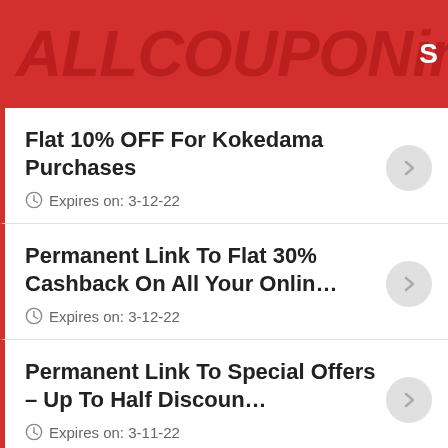ALLCOUPONin
Flat 10% OFF For Kokedama Purchases
Expires on: 3-12-22
Permanent Link To Flat 30% Cashback On All Your Onlin…
Expires on: 3-12-22
Permanent Link To Special Offers – Up To Half Discoun…
Expires on: 3-11-22